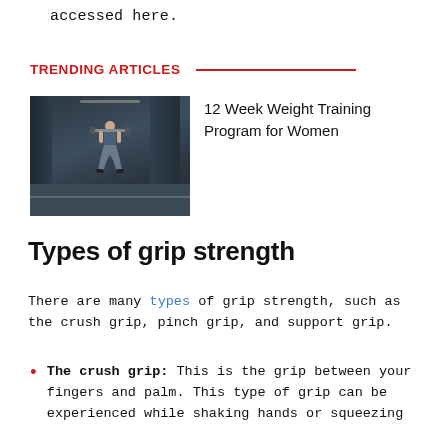accessed here.
TRENDING ARTICLES
[Figure (photo): Woman doing a barbell squat in a gym setting]
12 Week Weight Training Program for Women
Types of grip strength
There are many types of grip strength, such as the crush grip, pinch grip, and support grip.
The crush grip: This is the grip between your fingers and palm. This type of grip can be experienced while shaking hands or squeezing